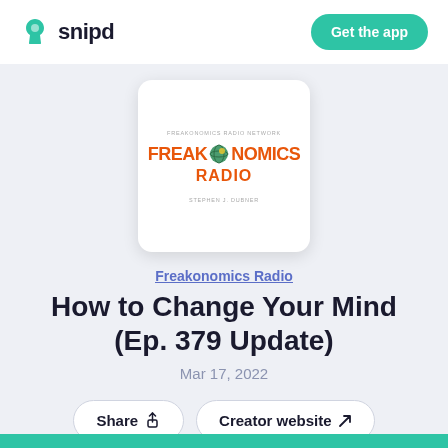snipd
Get the app
[Figure (illustration): Freakonomics Radio podcast cover art showing the show title in orange bold text with a globe icon, on a white background card with rounded corners]
Freakonomics Radio
How to Change Your Mind (Ep. 379 Update)
Mar 17, 2022
Share
Creator website